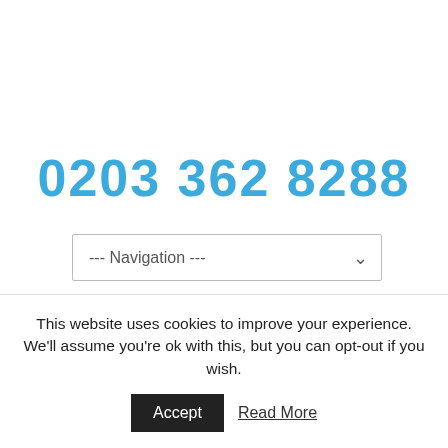0203 362 8288
[Figure (screenshot): Navigation dropdown select box with placeholder text '--- Navigation ---' and a chevron arrow on the right]
This website uses cookies to improve your experience. We'll assume you're ok with this, but you can opt-out if you wish.
Accept
Read More